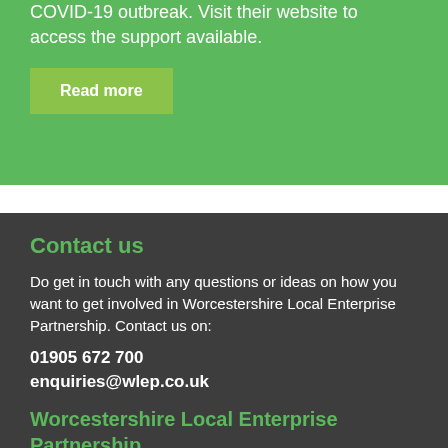COVID-19 outbreak. Visit their website to access the support available.
Read more
Contact us
Do get in touch with any questions or ideas on how you want to get involved in Worcestershire Local Enterprise Partnership. Contact us on:
01905 672 700
enquiries@wlep.co.uk
Worcestershire Local Enterprise Partnership